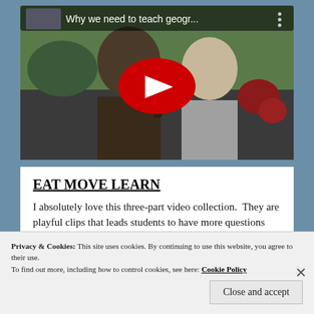[Figure (screenshot): YouTube video thumbnail showing two people being interviewed outdoors, with a red YouTube play button overlay and title 'Why we need to teach geogr...']
EAT MOVE LEARN
I absolutely love this three-part video collection.  They are playful clips that leads students to have more questions than answers
Privacy & Cookies: This site uses cookies. By continuing to use this website, you agree to their use.
To find out more, including how to control cookies, see here: Cookie Policy